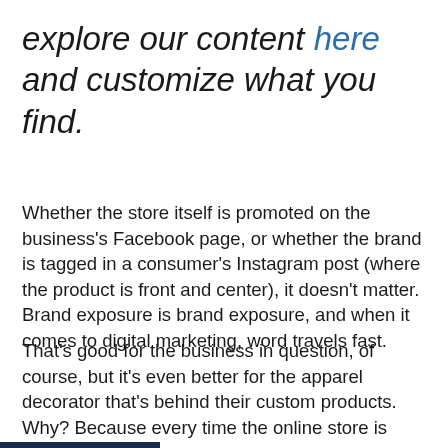explore our content here and customize what you find.
Whether the store itself is promoted on the business's Facebook page, or whether the brand is tagged in a consumer's Instagram post (where the product is front and center), it doesn't matter. Brand exposure is brand exposure, and when it comes to digital marketing, word travels fast.
That's good for the business in question, of course, but it's even better for the apparel decorator that's behind their custom products. Why? Because every time the online store is visited, that's one more